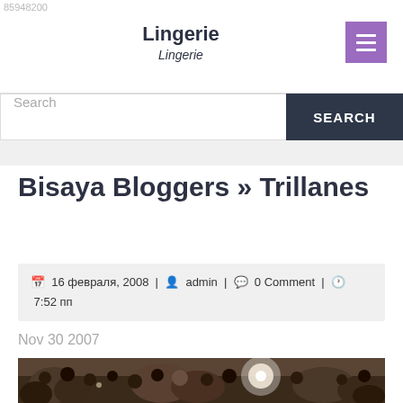85948200
Lingerie
Lingerie
Search
Bisaya Bloggers » Trillanes
16 февраля, 2008 | admin | 0 Comment | 7:52 пп
Nov 30 2007
[Figure (photo): Crowd photo showing people at what appears to be a gathering or event, with camera flashes visible]